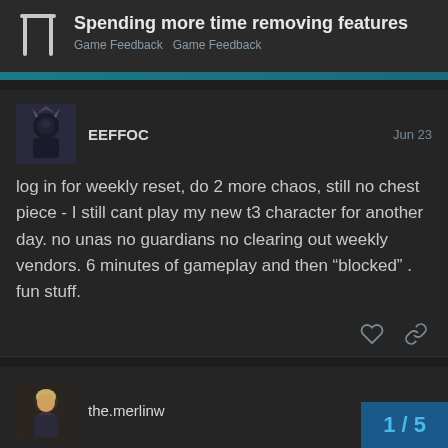Spending more time removing features — Game Feedback  Game Feedback
EEFFOC  Jun 23
log in for weekly reset, do 2 more chaos, still no chest piece - I still cant play my new t3 character for another day. no unas no guardians no clearing out weekly vendors. 6 minutes of gameplay and then "blocked" . fun stuff.
the.merlinw  Jun 23
EEFFOC:
1 / 5